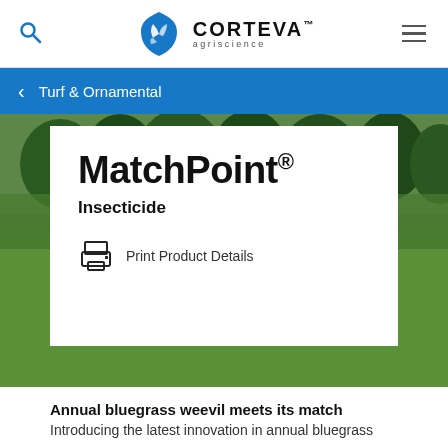Corteva agriscience
Turf & Ornamental
[Figure (photo): Golf course background with trees and green grass]
MatchPoint®
Insecticide
Print Product Details
Annual bluegrass weevil meets its match
Introducing the latest innovation in annual bluegrass